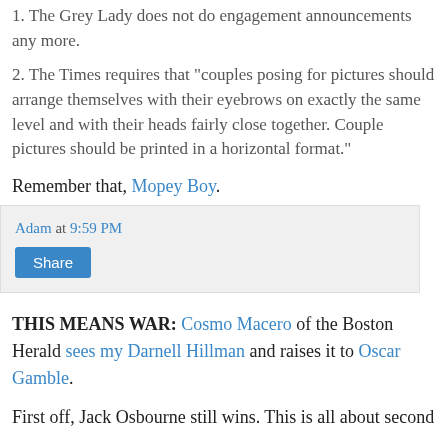1. The Grey Lady does not do engagement announcements any more.
2. The Times requires that "couples posing for pictures should arrange themselves with their eyebrows on exactly the same level and with their heads fairly close together. Couple pictures should be printed in a horizontal format."
Remember that, Mopey Boy.
Adam at 9:59 PM
Share
THIS MEANS WAR: Cosmo Macero of the Boston Herald sees my Darnell Hillman and raises it to Oscar Gamble.
First off, Jack Osbourne still wins. This is all about second